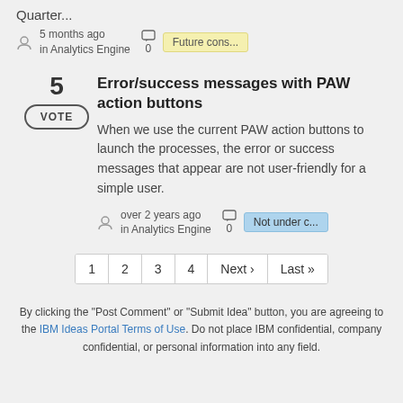Quarter...
5 months ago
in Analytics Engine
0
Future cons...
Error/success messages with PAW action buttons
When we use the current PAW action buttons to launch the processes, the error or success messages that appear are not user-friendly for a simple user.
over 2 years ago
in Analytics Engine
0
Not under c...
1 2 3 4 Next › Last »
By clicking the "Post Comment" or "Submit Idea" button, you are agreeing to the IBM Ideas Portal Terms of Use. Do not place IBM confidential, company confidential, or personal information into any field.